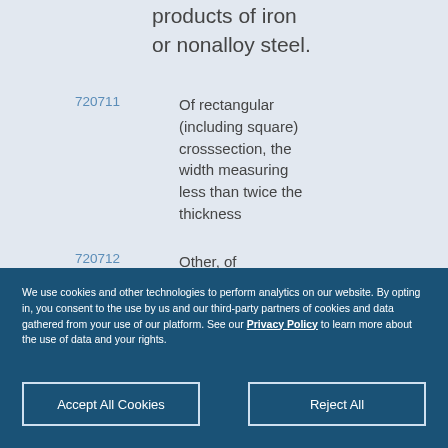products of iron or nonalloy steel.
| Code | Description |
| --- | --- |
| 720711 | Of rectangular (including square) crosssection, the width measuring less than twice the thickness |
| 720712 | Other, of rectangular (other than square) crosssection |
We use cookies and other technologies to perform analytics on our website. By opting in, you consent to the use by us and our third-party partners of cookies and data gathered from your use of our platform. See our Privacy Policy to learn more about the use of data and your rights.
Accept All Cookies
Reject All